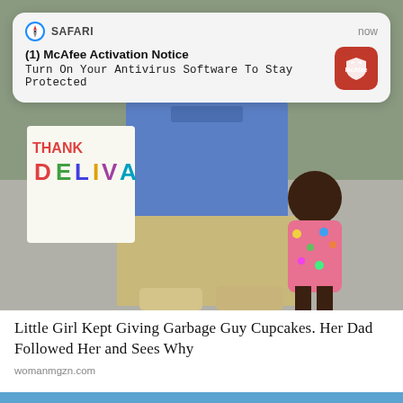[Figure (screenshot): Mobile browser screenshot showing a notification popup from Safari labeled '(1) McAfee Activation Notice' with subtitle 'Turn On Your Antivirus Software To Stay Protected', a McAfee red icon, and timestamp 'now'. Below the notification is a photo of a man kneeling next to a small child holding what appears to be a stuffed animal, with a colorful sign in the background reading 'DELIVERY'.]
Little Girl Kept Giving Garbage Guy Cupcakes. Her Dad Followed Her and Sees Why
womanmgzn.com